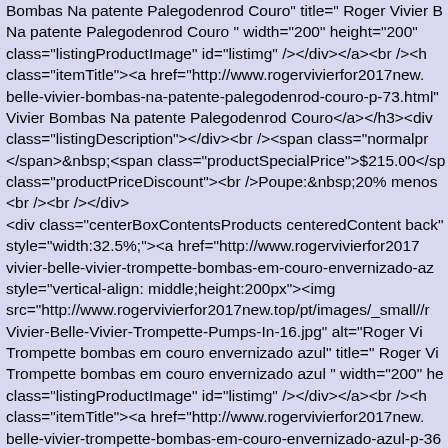Bombas Na patente Palegodenrod Couro" title=" Roger Vivier Bombas Na patente Palegodenrod Couro " width="200" height="200" class="listingProductImage" id="listimg" /></div></a><br /><h class="itemTitle"><a href="http://www.rogervivierfor2017new.belle-vivier-bombas-na-patente-palegodenrod-couro-p-73.html" Vivier Bombas Na patente Palegodenrod Couro</a></h3><div class="listingDescription"></div><br /><span class="normalpr </span>&nbsp;<span class="productSpecialPrice">$215.00</sp class="productPriceDiscount"><br />Poupe:&nbsp;20% menos <br /><br /></div> <div class="centerBoxContentsProducts centeredContent back" style="width:32.5%;"><a href="http://www.rogervivierfor2017 vivier-belle-vivier-trompette-bombas-em-couro-envernizado-az style="vertical-align: middle;height:200px"><img src="http://www.rogervivierfor2017new.top/pt/images/_small//r Vivier-Belle-Vivier-Trompette-Pumps-In-16.jpg" alt="Roger Vi Trompette bombas em couro envernizado azul" title=" Roger Vi Trompette bombas em couro envernizado azul " width="200" he class="listingProductImage" id="listimg" /></div></a><br /><h class="itemTitle"><a href="http://www.rogervivierfor2017new. belle-vivier-trompette-bombas-em-couro-envernizado-azul-p-36 Belle Vivier Trompette bombas em couro envernizado azul</a> class="listingDescription"></div><br /><span class="normalpr </span>&nbsp;<span class="productSpecialPrice">$205.00</sp class="productPriceDiscount"><br />Poupe:&nbsp;21% menos